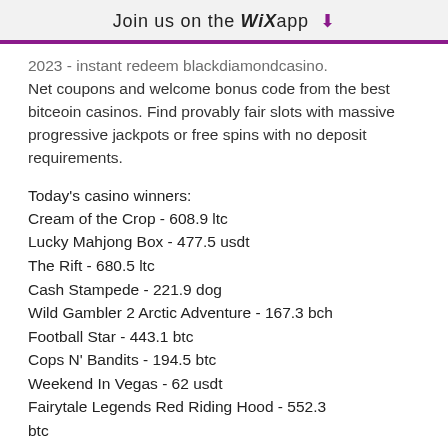Join us on the WiX app
2023 - instant redeem blackdiamondcasino. Net coupons and welcome bonus code from the best bitceoin casinos. Find provably fair slots with massive progressive jackpots or free spins with no deposit requirements.
Today's casino winners:
Cream of the Crop - 608.9 ltc
Lucky Mahjong Box - 477.5 usdt
The Rift - 680.5 ltc
Cash Stampede - 221.9 dog
Wild Gambler 2 Arctic Adventure - 167.3 bch
Football Star - 443.1 btc
Cops N' Bandits - 194.5 btc
Weekend In Vegas - 62 usdt
Fairytale Legends Red Riding Hood - 552.3 btc
Angel's Touch - 139.6 eth
Witch Pickings - 747.8 ltc
Marswood Party - 724.4 dog